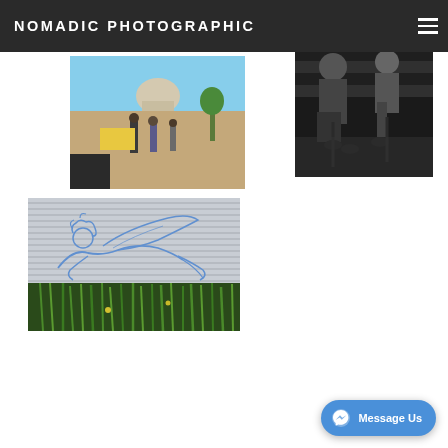NOMADIC PHOTOGRAPHIC
[Figure (photo): Color outdoor photo showing people near a landmark/plaza, sunny day]
[Figure (photo): Black and white photo of people seated, street/cafe scene]
[Figure (photo): Photo of a line-drawing artwork of a reclining female figure on a glass/shutter surface, with green reeds/grass below]
Message Us